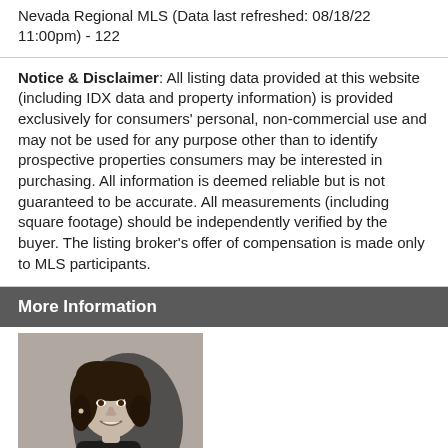Nevada Regional MLS (Data last refreshed: 08/18/22 11:00pm) - 122
Notice & Disclaimer: All listing data provided at this website (including IDX data and property information) is provided exclusively for consumers' personal, non-commercial use and may not be used for any purpose other than to identify prospective properties consumers may be interested in purchasing. All information is deemed reliable but is not guaranteed to be accurate. All measurements (including square footage) should be independently verified by the buyer. The listing broker's offer of compensation is made only to MLS participants.
More Information
[Figure (photo): Black and white professional headshot of a smiling woman with curly hair, seated in a chair]